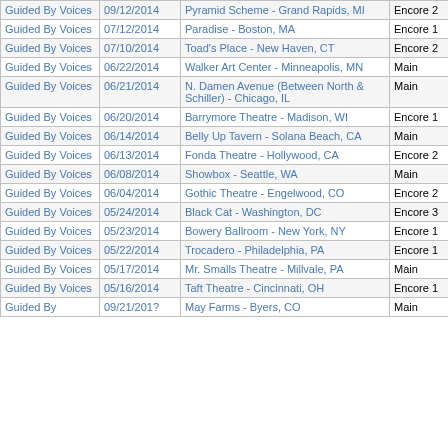| Artist | Date | Venue | Set |  |  |
| --- | --- | --- | --- | --- | --- |
| Guided By Voices | 09/12/2014 | Pyramid Scheme - Grand Rapids, MI | Encore 2 |  |  |
| Guided By Voices | 07/12/2014 | Paradise - Boston, MA | Encore 1 |  |  |
| Guided By Voices | 07/10/2014 | Toad's Place - New Haven, CT | Encore 2 |  |  |
| Guided By Voices | 06/22/2014 | Walker Art Center - Minneapolis, MN | Main |  |  |
| Guided By Voices | 06/21/2014 | N. Damen Avenue (Between North & Schiller) - Chicago, IL | Main |  |  |
| Guided By Voices | 06/20/2014 | Barrymore Theatre - Madison, WI | Encore 1 |  |  |
| Guided By Voices | 06/14/2014 | Belly Up Tavern - Solana Beach, CA | Main |  |  |
| Guided By Voices | 06/13/2014 | Fonda Theatre - Hollywood, CA | Encore 2 |  |  |
| Guided By Voices | 06/08/2014 | Showbox - Seattle, WA | Main |  |  |
| Guided By Voices | 06/04/2014 | Gothic Theatre - Engelwood, CO | Encore 2 |  |  |
| Guided By Voices | 05/24/2014 | Black Cat - Washington, DC | Encore 3 |  |  |
| Guided By Voices | 05/23/2014 | Bowery Ballroom - New York, NY | Encore 1 |  |  |
| Guided By Voices | 05/22/2014 | Trocadero - Philadelphia, PA | Encore 1 |  |  |
| Guided By Voices | 05/17/2014 | Mr. Smalls Theatre - Millvale, PA | Main |  |  |
| Guided By Voices | 05/16/2014 | Taft Theatre - Cincinnati, OH | Encore 1 |  |  |
| Guided By | 09/21/201? | May Farms - Byers, CO | Main |  |  |